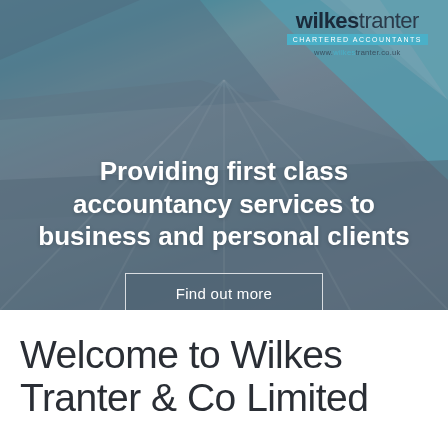[Figure (photo): Hero banner image showing branded Wilkes Tranter Chartered Accountants umbrella/canopy with blue and white geometric shapes, overlaid with promotional text on a grey-blue background]
Providing first class accountancy services to business and personal clients
Find out more
Welcome to Wilkes Tranter & Co Limited